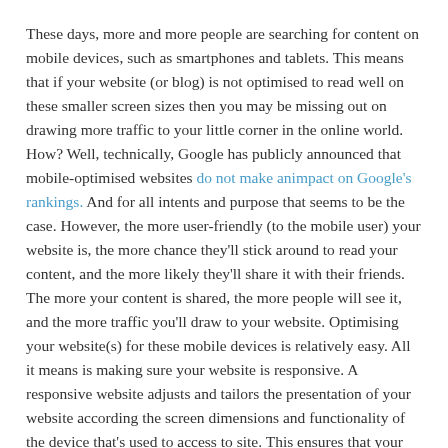These days, more and more people are searching for content on mobile devices, such as smartphones and tablets. This means that if your website (or blog) is not optimised to read well on these smaller screen sizes then you may be missing out on drawing more traffic to your little corner in the online world. How? Well, technically, Google has publicly announced that mobile-optimised websites do not make animpact on Google's rankings. And for all intents and purpose that seems to be the case. However, the more user-friendly (to the mobile user) your website is, the more chance they'll stick around to read your content, and the more likely they'll share it with their friends. The more your content is shared, the more people will see it, and the more traffic you'll draw to your website. Optimising your website(s) for these mobile devices is relatively easy. All it means is making sure your website is responsive. A responsive website adjusts and tailors the presentation of your website according the screen dimensions and functionality of the device that's used to access to site. This ensures that your website (or blog) looks great, regardless of whether it's consumed on an iPhone, iPad or a MacBook Air.
3. Get on the social media train.